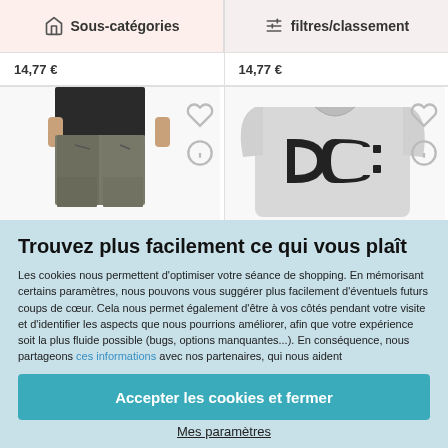Sous-catégories
filtres/classement
14,77 €
14,77 €
[Figure (photo): Man wearing dark t-shirt and grey cargo pants]
[Figure (photo): Grey DC logo t-shirt]
Trouvez plus facilement ce qui vous plaît
Les cookies nous permettent d'optimiser votre séance de shopping. En mémorisant certains paramètres, nous pouvons vous suggérer plus facilement d'éventuels futurs coups de cœur. Cela nous permet également d'être à vos côtés pendant votre visite et d'identifier les aspects que nous pourrions améliorer, afin que votre expérience soit la plus fluide possible (bugs, options manquantes...). En conséquence, nous partageons ces informations avec nos partenaires, qui nous aident
Accepter les cookies et fermer
Mes paramètres